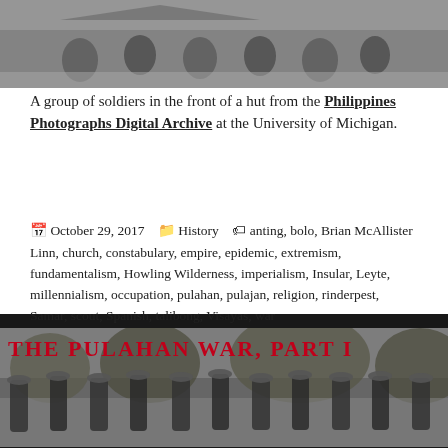[Figure (photo): Black and white photograph of a group of soldiers in front of a hut (cropped, top portion visible)]
A group of soldiers in the front of a hut from the Philippines Photographs Digital Archive at the University of Michigan.
October 29, 2017  History  anting, bolo, Brian McAllister Linn, church, constabulary, empire, epidemic, extremism, fundamentalism, Howling Wilderness, imperialism, Insular, Leyte, millennialism, occupation, pulahan, pulajan, religion, rinderpest, Samar, scout, Spanish, talibong, Visayas, war
[Figure (photo): Black and white photograph of a group of men walking through a field, with overlaid title text 'THE PULAHAN WAR, PART I' in bold red letters]